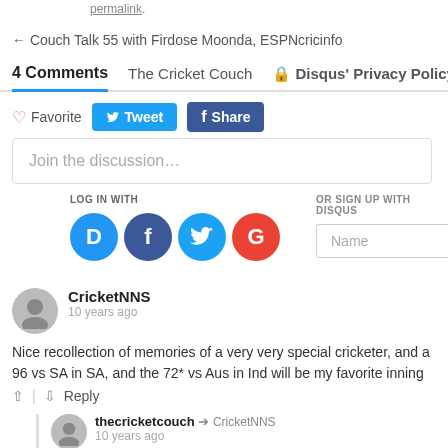permalink.
← Couch Talk 55 with Firdose Moonda, ESPNcricinfo
4 Comments   The Cricket Couch   🔒 Disqus' Privacy Policy
♡ Favorite  Tweet  Share
Join the discussion…
LOG IN WITH
OR SIGN UP WITH DISQUS ?
Name
CricketNNS
10 years ago
Nice recollection of memories of a very very special cricketer, and a 96 vs SA in SA, and the 72* vs Aus in Ind will be my favorite inning
^ | v  Reply
thecricketcouch → CricketNNS
10 years ago